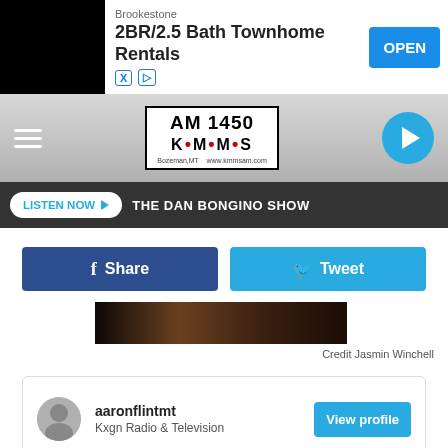[Figure (screenshot): Advertisement banner: Brookestone 2BR/2.5 Bath Townhome Rentals with OPEN button]
[Figure (logo): AM 1450 KMMS radio station logo, Bozeman MT]
LISTEN NOW   THE DAN BONGINO SHOW
[Figure (other): Share and Tweet social media buttons]
[Figure (photo): Partial dark photo strip]
Credit Jasmin Winchell
[Figure (screenshot): Profile card: aaronflintmt, Kxgn Radio & Television, View profile button]
[Figure (screenshot): Bottom advertisement: Wolf Decor to Adore Mercantile]